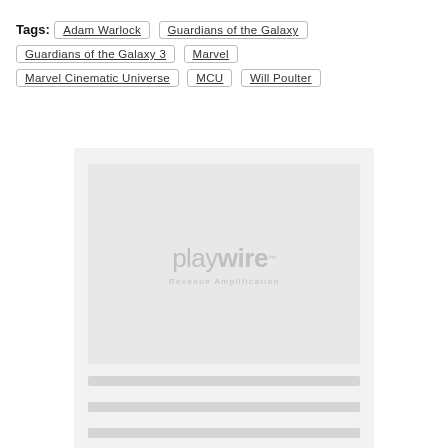Tags: Adam Warlock · Guardians of the Galaxy · Guardians of the Galaxy 3 · Marvel · Marvel Cinematic Universe · MCU · Will Poulter
[Figure (other): Playwire Revenue Amplification advertisement placeholder with logo and loading skeleton lines]